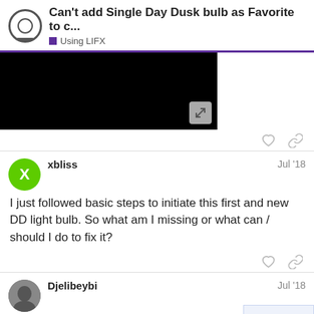Can't add Single Day Dusk bulb as Favorite to c... | Using LIFX
[Figure (screenshot): Black image area with expand/fullscreen button in bottom right corner]
xbliss
Jul '18
I just followed basic steps to initiate this first and new DD light bulb. So what am I missing or what can / should I do to fix it?
Djelibeybi
Jul '18
You're on the wrong screen 😕 Go to the
3 / 15